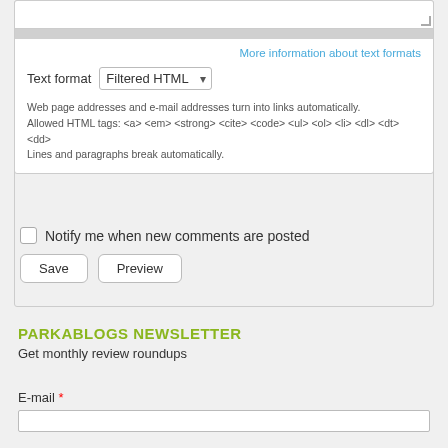More information about text formats
Text format  Filtered HTML
Web page addresses and e-mail addresses turn into links automatically.
Allowed HTML tags: <a> <em> <strong> <cite> <code> <ul> <ol> <li> <dl> <dt> <dd>
Lines and paragraphs break automatically.
Notify me when new comments are posted
Save   Preview
PARKABLOGS NEWSLETTER
Get monthly review roundups
E-mail *